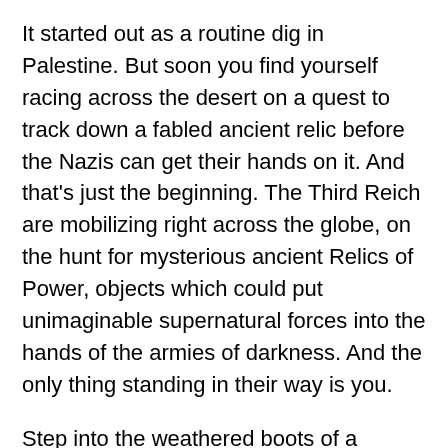It started out as a routine dig in Palestine. But soon you find yourself racing across the desert on a quest to track down a fabled ancient relic before the Nazis can get their hands on it. And that's just the beginning. The Third Reich are mobilizing right across the globe, on the hunt for mysterious ancient Relics of Power, objects which could put unimaginable supernatural forces into the hands of the armies of darkness. And the only thing standing in their way is you.
Step into the weathered boots of a swashbuckling 1930s archaeologist and strap in for a wild ride around the globe, finding adventure, romance, and mystery at every turn. Do you have what it takes to locate the Relics, vanquish your foes and save the world from a thousand years of darkness?
• Play as male, female, or non-binary; gay, straight, bi, poly, or asexual.
• Find romance with a fearless explorer, an exiled prince, a